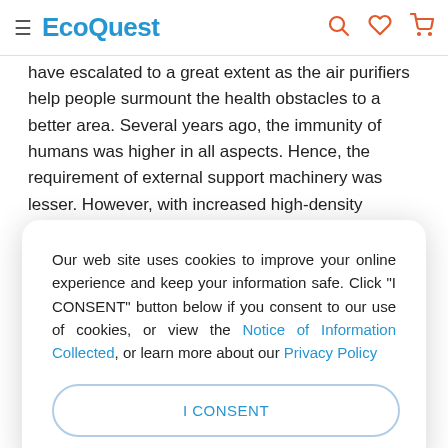≡ EcoQuest 🔍 ♡ 🛒
have escalated to a great extent as the air purifiers help people surmount the health obstacles to a better area. Several years ago, the immunity of humans was higher in all aspects. Hence, the requirement of external support machinery was lesser. However, with increased high-density population, extensive urbanisation, and nonorganic food supply – the debacle of fallen human immunity has grown to an
Our web site uses cookies to improve your online experience and keep your information safe. Click "I CONSENT" button below if you consent to our use of cookies, or view the Notice of Information Collected, or learn more about our Privacy Policy
I CONSENT
problem of COPD. Anon- complicated air purifier can